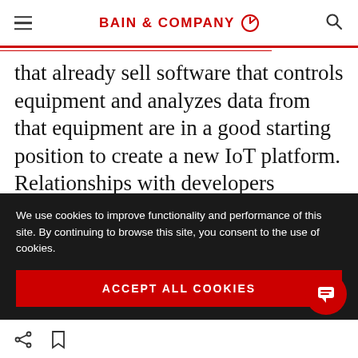BAIN & COMPANY
that already sell software that controls equipment and analyzes data from that equipment are in a good starting position to create a new IoT platform. Relationships with developers working for specialized software companies, systems integrators or customers will also be critical to the new platform's success.
We use cookies to improve functionality and performance of this site. By continuing to browse this site, you consent to the use of cookies.
ACCEPT ALL COOKIES